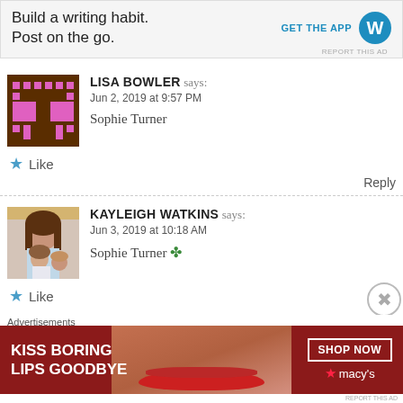[Figure (screenshot): Top WordPress advertisement banner: 'Build a writing habit. Post on the go.' with GET THE APP button and WordPress logo, REPORT THIS AD text]
LISA BOWLER says:
Jun 2, 2019 at 9:57 PM

Sophie Turner
Like
Reply
KAYLEIGH WATKINS says:
Jun 3, 2019 at 10:18 AM

Sophie Turner 🍀
Like
Advertisements
[Figure (photo): Macy's advertisement banner: 'KISS BORING LIPS GOODBYE' with SHOP NOW button and Macy's star logo, featuring close-up of woman's lips]